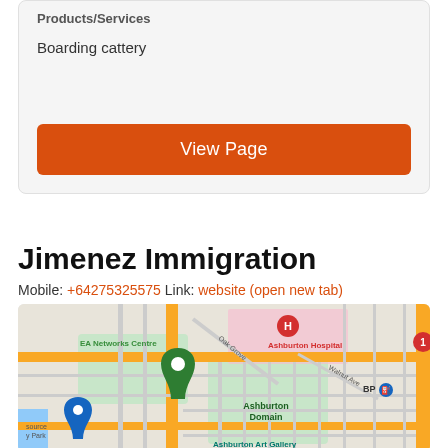Products/Services
Boarding cattery
View Page
Jimenez Immigration
Mobile: +64275325575 Link: website (open new tab)
[Figure (map): Google Maps view showing Ashburton area with Ashburton Hospital, EA Networks Centre, Ashburton Domain, Ashburton Art Gallery, BP station, and a green location pin marker. Road network including Oak Grove and Walnut Ave visible.]